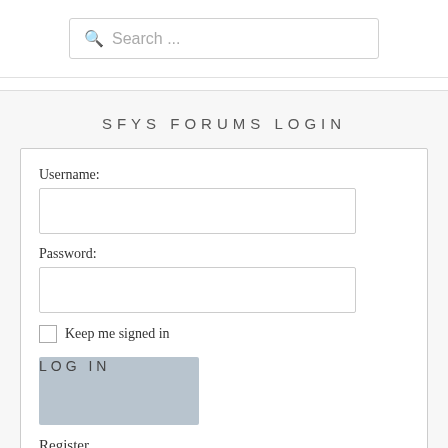[Figure (screenshot): Search input box with magnifying glass icon and placeholder text 'Search ...']
SFYS FORUMS LOGIN
Username:
Password:
Keep me signed in
LOG IN
Register